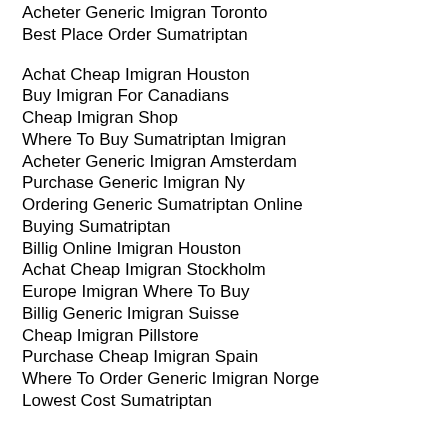Acheter Generic Imigran Toronto
Best Place Order Sumatriptan
Achat Cheap Imigran Houston
Buy Imigran For Canadians
Cheap Imigran Shop
Where To Buy Sumatriptan Imigran
Acheter Generic Imigran Amsterdam
Purchase Generic Imigran Ny
Ordering Generic Sumatriptan Online
Buying Sumatriptan
Billig Online Imigran Houston
Achat Cheap Imigran Stockholm
Europe Imigran Where To Buy
Billig Generic Imigran Suisse
Cheap Imigran Pillstore
Purchase Cheap Imigran Spain
Where To Order Generic Imigran Norge
Lowest Cost Sumatriptan